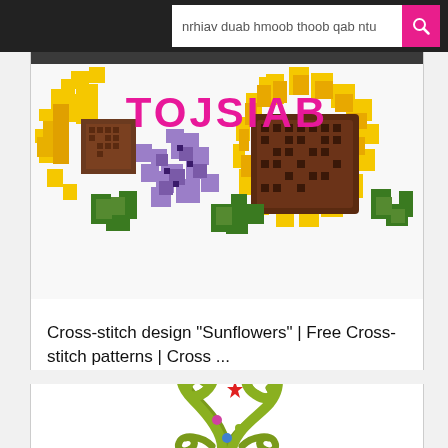nrhiav duab hmoob thoob qab ntu
[Figure (photo): Pixel/cross-stitch art image of sunflowers and purple flowers with 'TOJSIAB' text overlay in magenta/red]
Cross-stitch design "Sunflowers" | Free Cross-stitch patterns | Cross ...
[Figure (illustration): Decorative swirl/scroll illustration in olive green with a red star accent and colored dots (pink, blue)]